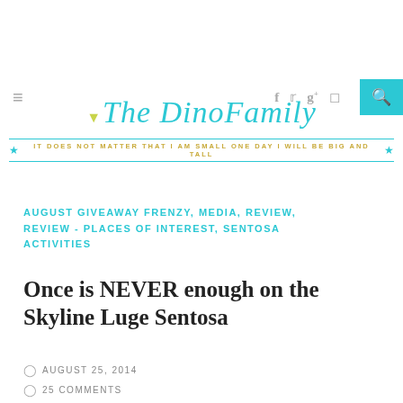The DinoFamily — IT DOES NOT MATTER THAT I AM SMALL ONE DAY I WILL BE BIG AND TALL
AUGUST GIVEAWAY FRENZY, MEDIA, REVIEW, REVIEW - PLACES OF INTEREST, SENTOSA ACTIVITIES
Once is NEVER enough on the Skyline Luge Sentosa
AUGUST 25, 2014
25 COMMENTS